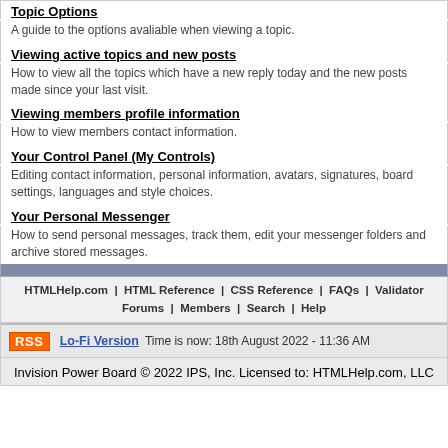Topic Options
A guide to the options avaliable when viewing a topic.
Viewing active topics and new posts
How to view all the topics which have a new reply today and the new posts made since your last visit.
Viewing members profile information
How to view members contact information.
Your Control Panel (My Controls)
Editing contact information, personal information, avatars, signatures, board settings, languages and style choices.
Your Personal Messenger
How to send personal messages, track them, edit your messenger folders and archive stored messages.
HTMLHelp.com | HTML Reference | CSS Reference | FAQs | Validator | Forums | Members | Search | Help
Lo-Fi Version  Time is now: 18th August 2022 - 11:36 AM
Invision Power Board © 2022  IPS, Inc.
Licensed to: HTMLHelp.com, LLC